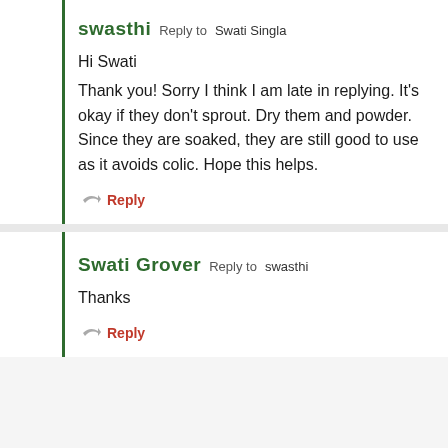swasthi  Reply to  Swati Singla
Hi Swati
Thank you! Sorry I think I am late in replying. It's okay if they don't sprout. Dry them and powder. Since they are soaked, they are still good to use as it avoids colic. Hope this helps.
Reply
Swati Grover  Reply to  swasthi
Thanks
Reply